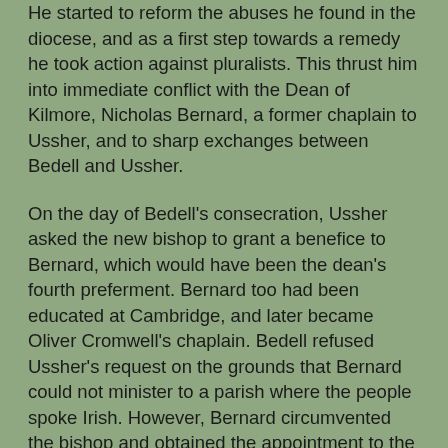He started to reform the abuses he found in the diocese, and as a first step towards a remedy he took action against pluralists. This thrust him into immediate conflict with the Dean of Kilmore, Nicholas Bernard, a former chaplain to Ussher, and to sharp exchanges between Bedell and Ussher.
On the day of Bedell's consecration, Ussher asked the new bishop to grant a benefice to Bernard, which would have been the dean's fourth preferment. Bernard too had been educated at Cambridge, and later became Oliver Cromwell's chaplain. Bedell refused Ussher's request on the grounds that Bernard could not minister to a parish where the people spoke Irish. However, Bernard circumvented the bishop and obtained the appointment to the parish through a decree issued by the Primate's Prerogative Court.
Bedell complained to Ussher, telling the archbishop that Bernard could not preach without using the services of an interpreter and was interested not in the pastoral care of his parishioners but only in the stipend that allowed him 'to fat himself with the blood of God's people.'